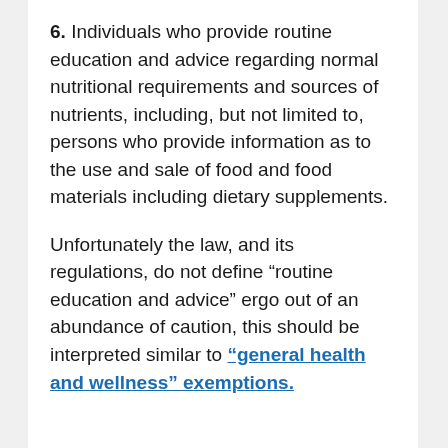6. Individuals who provide routine education and advice regarding normal nutritional requirements and sources of nutrients, including, but not limited to, persons who provide information as to the use and sale of food and food materials including dietary supplements.
Unfortunately the law, and its regulations, do not define “routine education and advice” ergo out of an abundance of caution, this should be interpreted similar to “general health and wellness” exemptions.